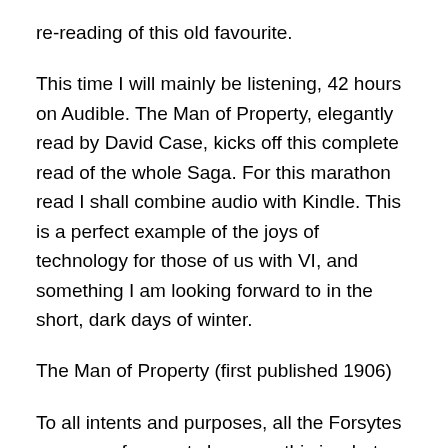re-reading of this old favourite.
This time I will mainly be listening, 42 hours on Audible. The Man of Property, elegantly read by David Case, kicks off this complete read of the whole Saga.  For this marathon read I shall combine audio with Kindle.  This is a perfect example of the joys of technology for those of us with VI, and something I am looking forward to in the short, dark days of winter.
The Man of Property (first published 1906)
To all intents and purposes, all the Forsytes are men of property because this is what they value most and this is what has earned them their position in upper middle class London Society.
However, these first two volumes and the interlude, Indian